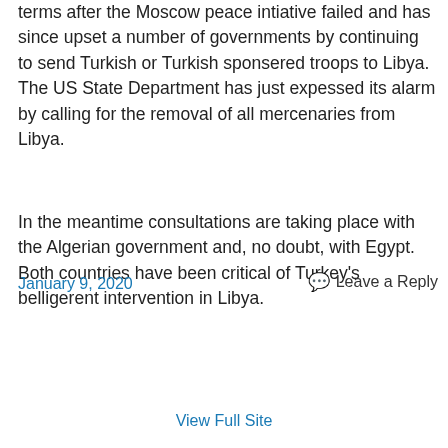terms after the Moscow peace intiative failed and has since upset a number of governments by continuing to send Turkish or Turkish sponsered troops to Libya. The US State Department has just expessed its alarm by calling for the removal of all mercenaries from Libya.
In the meantime consultations are taking place with the Algerian government and, no doubt, with Egypt. Both countries have been critical of Turkey’s belligerent intervention in Libya.
January 9, 2020
Leave a Reply
View Full Site